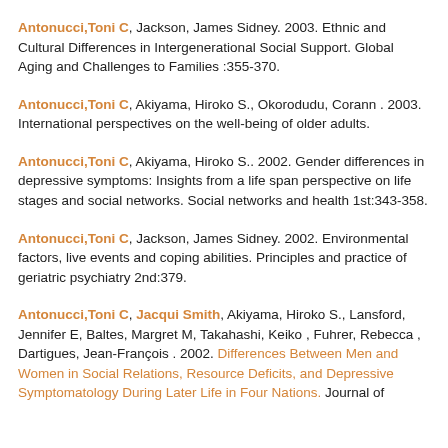Antonucci,Toni C, Jackson, James Sidney. 2003. Ethnic and Cultural Differences in Intergenerational Social Support. Global Aging and Challenges to Families :355-370.
Antonucci,Toni C, Akiyama, Hiroko S., Okorodudu, Corann . 2003. International perspectives on the well-being of older adults.
Antonucci,Toni C, Akiyama, Hiroko S.. 2002. Gender differences in depressive symptoms: Insights from a life span perspective on life stages and social networks. Social networks and health 1st:343-358.
Antonucci,Toni C, Jackson, James Sidney. 2002. Environmental factors, live events and coping abilities. Principles and practice of geriatric psychiatry 2nd:379.
Antonucci,Toni C, Jacqui Smith, Akiyama, Hiroko S., Lansford, Jennifer E, Baltes, Margret M, Takahashi, Keiko , Fuhrer, Rebecca , Dartigues, Jean-François . 2002. Differences Between Men and Women in Social Relations, Resource Deficits, and Depressive Symptomatology During Later Life in Four Nations. Journal of...